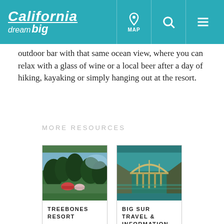California dream big | MAP | [search] | [menu]
outdoor bar with that same ocean view, where you can relax with a glass of wine or a local beer after a day of hiking, kayaking or simply hanging out at the resort.
MORE RESOURCES
[Figure (photo): Aerial/landscape photo of Treebones Resort showing yurts among trees on a hillside]
TREEBONES RESORT
[Figure (photo): Photo of a stone bridge (Bixby Bridge) over Big Sur coastline with teal-green ocean water]
BIG SUR TRAVEL & INFORMATION GUIDE